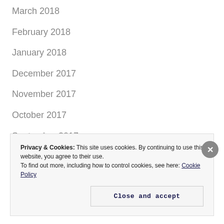March 2018
February 2018
January 2018
December 2017
November 2017
October 2017
September 2017
August 2017
July 2017
Privacy & Cookies: This site uses cookies. By continuing to use this website, you agree to their use.
To find out more, including how to control cookies, see here: Cookie Policy
Close and accept